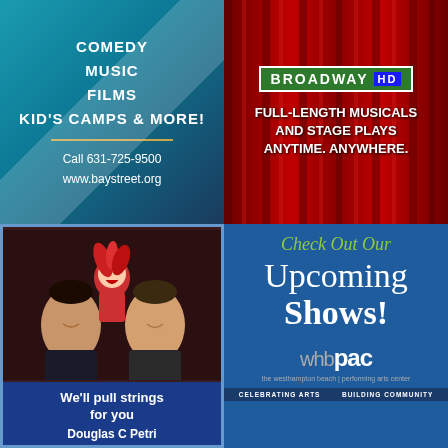[Figure (illustration): Bay Street Theater advertisement on teal/blue gradient background. Text: COMEDY, MUSIC, FILMS, KID'S CAMPS & MORE! with gold divider line, Call 631-725-9500, www.baystreet.org]
[Figure (illustration): Broadway HD advertisement with red curtain background. Green street sign logo reading BROADWAY HD. Text: FULL-LENGTH MUSICALS AND STAGE PLAYS ANYTIME. ANYWHERE.]
[Figure (photo): Douglas C Petri ventriloquist advertisement. Photo of two men with a red puppet/ventriloquist dummy. Blue border. Bottom blue box reads: We'll pull strings for you, Douglas C Petri]
[Figure (illustration): WHBPAC (Westhampton Beach Performing Arts Center) advertisement on blue background. Check Out Our Upcoming Shows! whbpac logo. The Westhampton Beach Performing Arts Center. CELEBRATING ARTS BUILDING COMMUNITY]